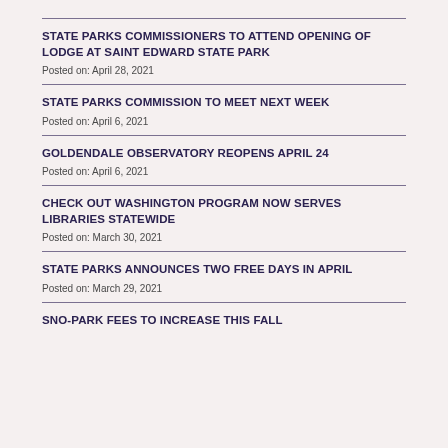STATE PARKS COMMISSIONERS TO ATTEND OPENING OF LODGE AT SAINT EDWARD STATE PARK
Posted on: April 28, 2021
STATE PARKS COMMISSION TO MEET NEXT WEEK
Posted on: April 6, 2021
GOLDENDALE OBSERVATORY REOPENS APRIL 24
Posted on: April 6, 2021
CHECK OUT WASHINGTON PROGRAM NOW SERVES LIBRARIES STATEWIDE
Posted on: March 30, 2021
STATE PARKS ANNOUNCES TWO FREE DAYS IN APRIL
Posted on: March 29, 2021
SNO-PARK FEES TO INCREASE THIS FALL